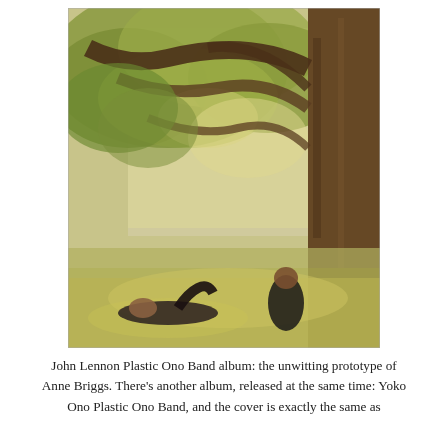[Figure (photo): Outdoor photograph showing two people resting beneath a large tree in a sunlit meadow or park setting. One person lies on the grass and another sits leaning against the tree trunk. The scene is bathed in warm golden-green light filtering through the tree's canopy of leaves.]
John Lennon Plastic Ono Band album: the unwitting prototype of Anne Briggs. There's another album, released at the same time: Yoko Ono Plastic Ono Band, and the cover is exactly the same as